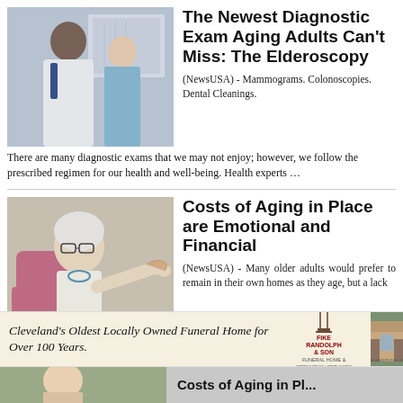[Figure (photo): Two medical professionals, a male doctor in white coat and a female nurse in scrubs, smiling in a medical office with anatomy poster on wall]
The Newest Diagnostic Exam Aging Adults Can’t Miss: The Elderoscopy
(NewsUSA) - Mammograms. Colonoscopies. Dental Cleanings. There are many diagnostic exams that we may not enjoy; however, we follow the prescribed regimen for our health and well-being. Health experts …
[Figure (photo): Elderly woman with glasses and white hair reaching out her hand, being helped by a caregiver]
Costs of Aging in Place are Emotional and Financial
(NewsUSA) - Many older adults would prefer to remain in their own homes as they age, but a lack of affordable options makes this plan a challenge for individuals and
[Figure (infographic): Advertisement: Cleveland’s Oldest Locally Owned Funeral Home for Over 100 Years. Fike Randolph & Son Funeral Home & Cremation Services. Photo of funeral home building.]
Cleveland’s Oldest Locally Owned Funeral Home for Over 100 Years.
[Figure (photo): Bottom strip showing partial photo of elderly person and partial title text 'Costs of Aging in Pl...']